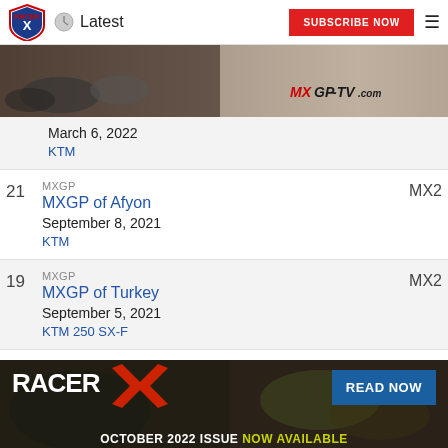Latest | SUBSCRIBE NOW
[Figure (photo): Motocross racing action photo with MXGP-TV.com logo overlay]
March 6, 2022
KTM
21 MXGP MXGP of Afyon September 8, 2021 KTM MX2
19 MXGP MXGP of Turkey September 5, 2021 KTM 250 SX-F MX2
[Figure (infographic): Racer X magazine banner: October 2022 Issue Now Available - Read Now]